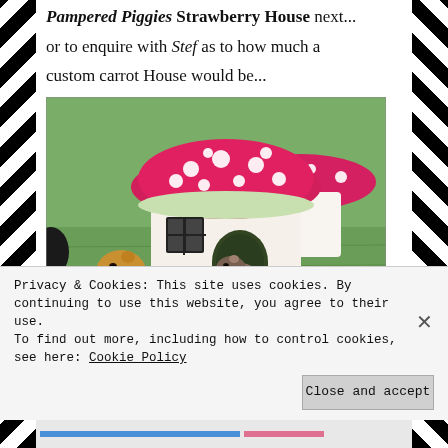Pampered Piggies Strawberry House next... or to enquire with Stef as to how much a custom carrot House would be...
[Figure (photo): Two guinea pigs near a cute mushroom-shaped house with a red polka dot fabric roof, sitting on grass. One guinea pig (golden/tan) is outside to the left, another (grey/brown) is peeking out from inside the house doorway.]
Privacy & Cookies: This site uses cookies. By continuing to use this website, you agree to their use. To find out more, including how to control cookies, see here: Cookie Policy
Close and accept